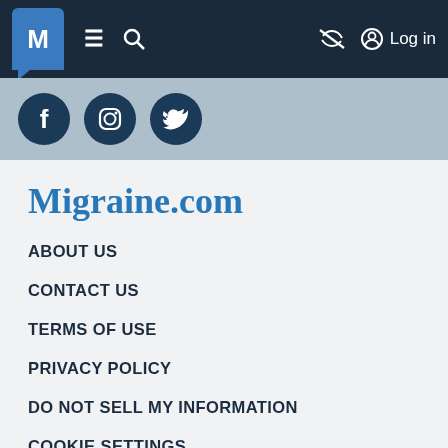M ≡ 🔍 Log in
[Figure (illustration): Social media icons: Facebook, Instagram, Twitter on a grey-blue bar]
Migraine.com
ABOUT US
CONTACT US
TERMS OF USE
PRIVACY POLICY
DO NOT SELL MY INFORMATION
COOKIE SETTINGS
COMMUNITY RULES